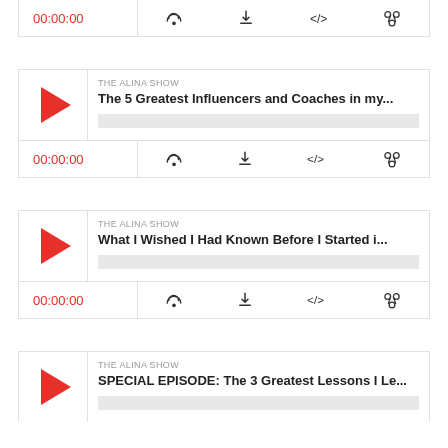[Figure (screenshot): Podcast player bar with time 00:00:00 and action icons (RSS, download, embed, share)]
[Figure (screenshot): Podcast episode card: THE ALINA SHOW - The 5 Greatest Influencers and Coaches in my... with play button, progress bar, time 00:00:00 and action icons]
[Figure (screenshot): Podcast episode card: THE ALINA SHOW - What I Wished I Had Known Before I Started i... with play button, progress bar, time 00:00:00 and action icons]
[Figure (screenshot): Podcast episode card (partial): THE ALINA SHOW - SPECIAL EPISODE: The 3 Greatest Lessons I Le... with play button]